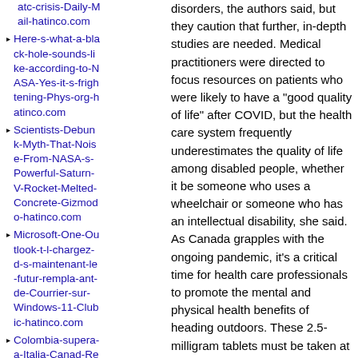atc-crisis-Daily-Mail-hatinco.com
Here-s-what-a-black-hole-sounds-like-according-to-NASA-Yes-it-s-frightening-Phys-org-hatinco.com
Scientists-Debunk-Myth-That-Noise-From-NASA-s-Powerful-Saturn-V-Rocket-Melted-Concrete-Gizmodo-hatinco.com
Microsoft-One-Outlook-t-l-chargez-d-s-maintenant-le-futur-rempla-ant-de-Courrier-sur-Windows-11-Clubic-hatinco.com
Colombia-supera-a-Italia-Canad-Reino-Unido-y-Estados-Unidos-en-energ-as-renovables-La-Rep-blica-hatinco.com
disorders, the authors said, but they caution that further, in-depth studies are needed. Medical practitioners were directed to focus resources on patients who were likely to have a "good quality of life" after COVID, but the health care system frequently underestimates the quality of life among disabled people, whether it be someone who uses a wheelchair or someone who has an intellectual disability, she said. As Canada grapples with the ongoing pandemic, it's a critical time for health care professionals to promote the mental and physical health benefits of heading outdoors. These 2.5-milligram tablets must be taken at the same time every day. Aarti said this was not the first time the alleged perpetrators had targeted her sister. Aarti is still living at her family home, yards from the house where her sister was attacked, on the same street where she was paraded and mocked. Dear Amy: My husband and I have been very happily together for 15 years and have successfully raised a blended family of independent